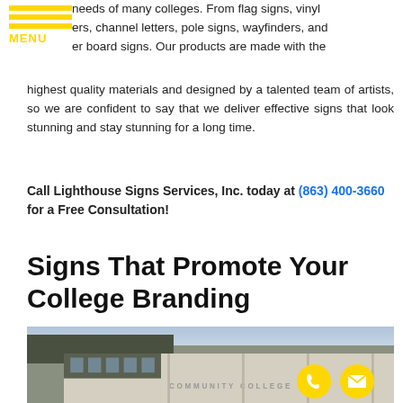MENU
needs of many colleges. From flag signs, vinyl ers, channel letters, pole signs, wayfinders, and er board signs. Our products are made with the highest quality materials and designed by a talented team of artists, so we are confident to say that we deliver effective signs that look stunning and stay stunning for a long time.
Call Lighthouse Signs Services, Inc. today at (863) 400-3660 for a Free Consultation!
Signs That Promote Your College Branding
[Figure (photo): Exterior photo of a community college building with large stone lettering reading 'COMMUNITY COLLEGE' on the facade. Two yellow circular contact buttons (phone and mail) overlay the bottom right of the image.]